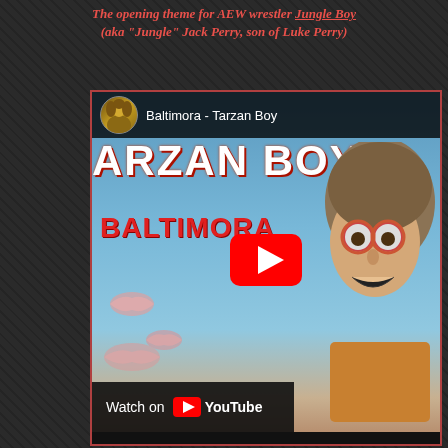The opening theme for AEW wrestler Jungle Boy (aka "Jungle" Jack Perry, son of Luke Perry)
[Figure (screenshot): Embedded YouTube video thumbnail showing Baltimora - Tarzan Boy album cover/video. Blue background with text 'TARZAN BOY' and 'BALTIMORA' in red, a man's face with glasses and open mouth expression, pink lip prints, a red YouTube play button in center, and a 'Watch on YouTube' bar at bottom left. Channel avatar shows a person with curly hair.]